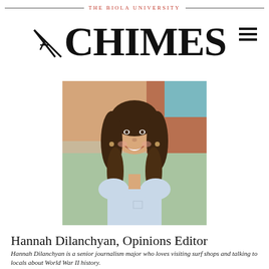THE BIOLA UNIVERSITY CHIMES
[Figure (photo): Headshot photo of Hannah Dilanchyan, a young woman with curly brown hair, smiling, wearing a light blue t-shirt, photographed outdoors.]
Hannah Dilanchyan, Opinions Editor
Hannah Dilanchyan is a senior journalism major who loves visiting surf shops and talking to locals about World War II history.